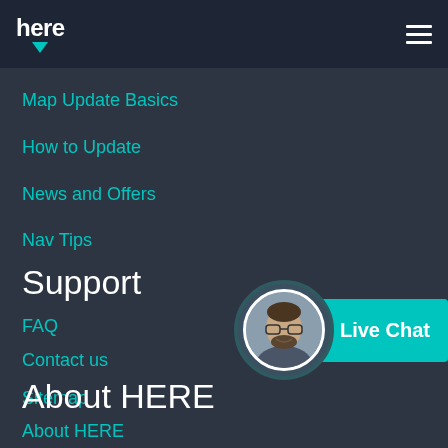here
Map Update Basics
How to Update
News and Offers
Nav Tips
Support
FAQ
Contact us
Sitemap
[Figure (infographic): Live Chat widget with circular avatar photo of a man with glasses and beard, overlapping a teal button labeled Live Chat]
About HERE
About HERE